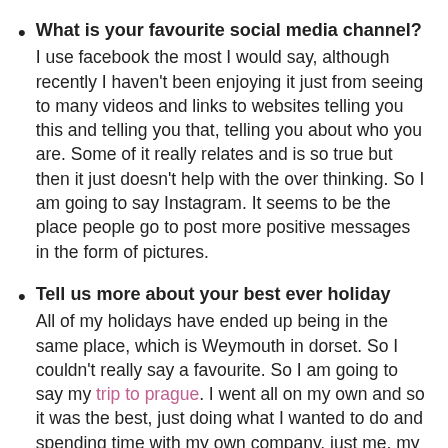What is your favourite social media channel? I use facebook the most I would say, although recently I haven't been enjoying it just from seeing to many videos and links to websites telling you this and telling you that, telling you about who you are. Some of it really relates and is so true but then it just doesn't help with the over thinking. So I am going to say Instagram. It seems to be the place people go to post more positive messages in the form of pictures.
Tell us more about your best ever holiday All of my holidays have ended up being in the same place, which is Weymouth in dorset. So I couldn't really say a favourite. So I am going to say my trip to prague. I went all on my own and so it was the best, just doing what I wanted to do and spending time with my own company, just me, my camera and this wonderful place. When I look back to that week, I felt on top of the world.
Name one cake you rock at baking